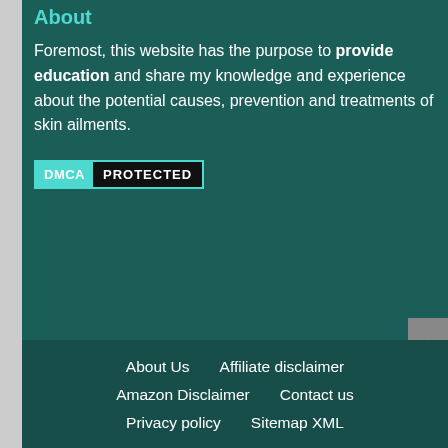About
Foremost, this website has the purpose to provide education and share my knowledge and experience about the potential causes, prevention and treatments of skin ailments.
[Figure (logo): DMCA Protected badge with teal and black sections]
About Us   Affiliate disclaimer   Amazon Disclaimer   Contact us   Privacy policy   Sitemap XML